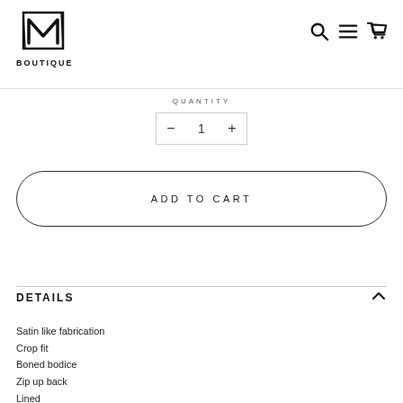[Figure (logo): M Boutique logo with hand-drawn M letter above text BOUTIQUE]
[Figure (infographic): Navigation icons: search (magnifier), menu (hamburger lines), cart (shopping cart)]
QUANTITY
- 1 +
ADD TO CART
DETAILS
Satin like fabrication
Crop fit
Boned bodice
Zip up back
Lined